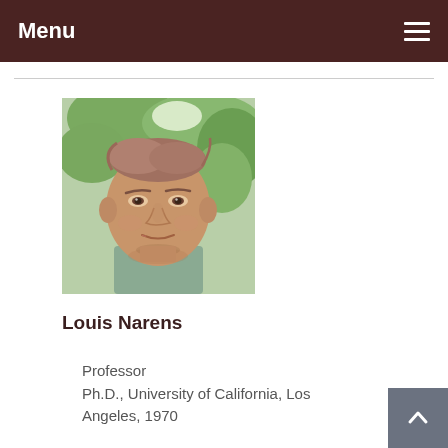Menu
[Figure (photo): Headshot photo of Louis Narens, an older man with thinning hair wearing a grey-green shirt, with green foliage in the background.]
Louis Narens
Professor
Ph.D., University of California, Los Angeles, 1970